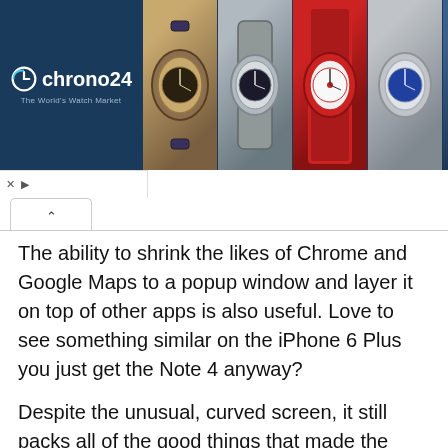[Figure (screenshot): Chrono24 advertisement banner showing logo on dark blue background and watch images]
The ability to shrink the likes of Chrome and Google Maps to a popup window and layer it on top of other apps is also useful. Love to see something similar on the iPhone 6 Plus you just get the Note 4 anyway?
Despite the unusual, curved screen, it still packs all of the good things that made the Note 4 such a strong choice. But bragging rights aside, is there enough of an argument for a curved screen.